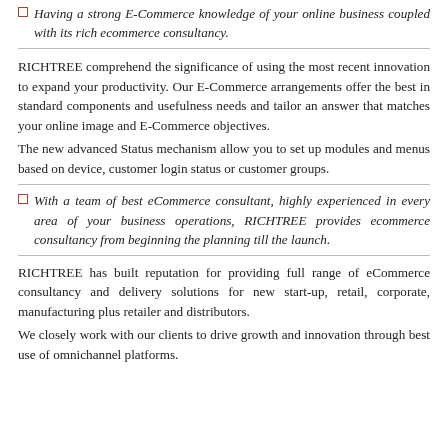Having a strong E-Commerce knowledge of your online business coupled with its rich ecommerce consultancy.
RICHTREE comprehend the significance of using the most recent innovation to expand your productivity. Our E-Commerce arrangements offer the best in standard components and usefulness needs and tailor an answer that matches your online image and E-Commerce objectives.
The new advanced Status mechanism allow you to set up modules and menus based on device, customer login status or customer groups.
With a team of best eCommerce consultant, highly experienced in every area of your business operations, RICHTREE provides ecommerce consultancy from beginning the planning till the launch.
RICHTREE has built reputation for providing full range of eCommerce consultancy and delivery solutions for new start-up, retail, corporate, manufacturing plus retailer and distributors.
We closely work with our clients to drive growth and innovation through best use of omnichannel platforms.